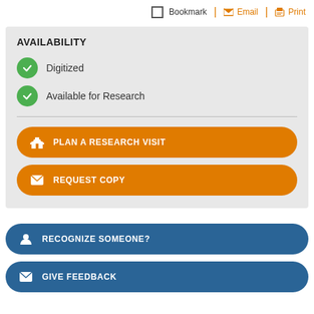Bookmark  Email  Print
AVAILABILITY
Digitized
Available for Research
PLAN A RESEARCH VISIT
REQUEST COPY
RECOGNIZE SOMEONE?
GIVE FEEDBACK